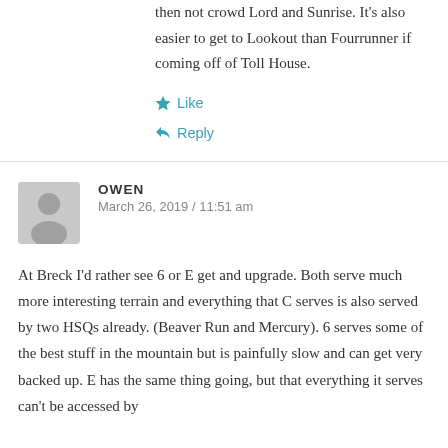then not crowd Lord and Sunrise. It's also easier to get to Lookout than Fourrunner if coming off of Toll House.
Like
Reply
OWEN
March 26, 2019 / 11:51 am
At Breck I'd rather see 6 or E get and upgrade. Both serve much more interesting terrain and everything that C serves is also served by two HSQs already. (Beaver Run and Mercury). 6 serves some of the best stuff in the mountain but is painfully slow and can get very backed up. E has the same thing going, but that everything it serves can't be accessed by